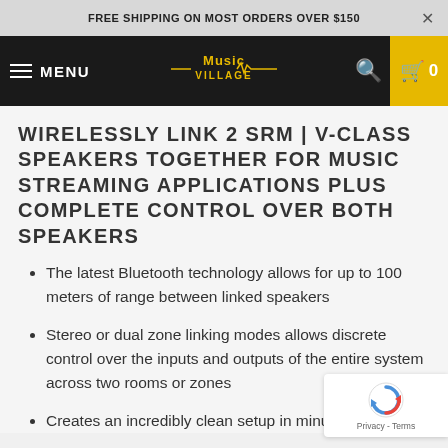FREE SHIPPING ON MOST ORDERS OVER $150
[Figure (logo): Music Village logo with stylized text and waveform, navigation bar with MENU, search icon, and cart showing 0]
WIRELESSLY LINK 2 SRM | V-CLASS SPEAKERS TOGETHER FOR MUSIC STREAMING APPLICATIONS PLUS COMPLETE CONTROL OVER BOTH SPEAKERS
The latest Bluetooth technology allows for up to 100 meters of range between linked speakers
Stereo or dual zone linking modes allows discrete control over the inputs and outputs of the entire system across two rooms or zones
Creates an incredibly clean setup in minutes